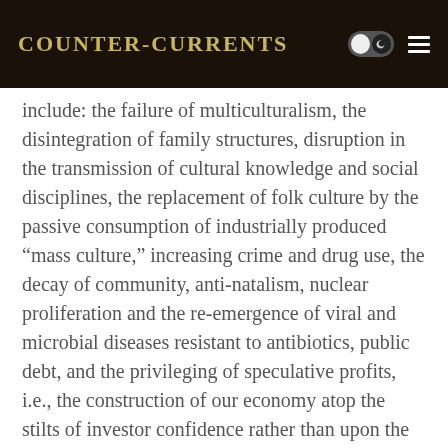Counter-Currents
include: the failure of multiculturalism, the disintegration of family structures, disruption in the transmission of cultural knowledge and social disciplines, the replacement of folk culture by the passive consumption of industrially produced “mass culture,” increasing crime and drug use, the decay of community, anti-natalism, nuclear proliferation and the re-emergence of viral and microbial diseases resistant to antibiotics, public debt, and the privileging of speculative profits, i.e., the construction of our economy atop the stilts of investor confidence rather than upon the solid ground of production.
Furthermore, liberal ideology has propounded a utopian ideal of universal “development,” whereby every last African hellhole is supposed to become an affluent, tolerant, democratic, and efficient consumerist society. The nations of the South were won over to this project, dazzled